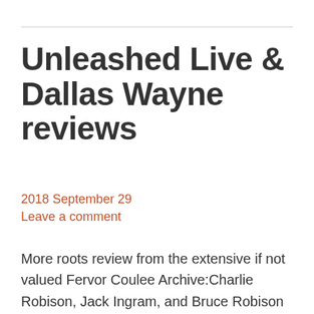Unleashed Live & Dallas Wayne reviews
2018 September 29
Leave a comment
More roots review from the extensive if not valued Fervor Coulee Archive:Charlie Robison, Jack Ingram, and Bruce Robison Unleashed Live Lucky Dog (2000) These singer-songwriters, here recorded live at Texas's legendary Gruene Hall, are